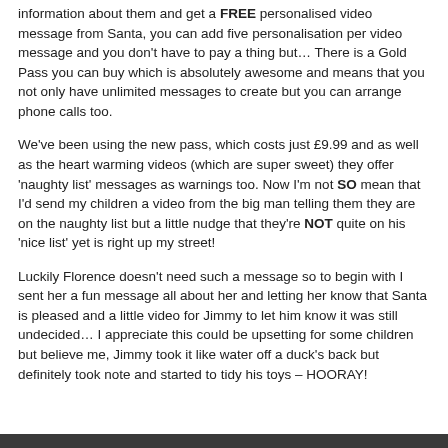information about them and get a FREE personalised video message from Santa, you can add five personalisation per video message and you don't have to pay a thing but… There is a Gold Pass you can buy which is absolutely awesome and means that you not only have unlimited messages to create but you can arrange phone calls too.
We've been using the new pass, which costs just £9.99 and as well as the heart warming videos (which are super sweet) they offer 'naughty list' messages as warnings too. Now I'm not SO mean that I'd send my children a video from the big man telling them they are on the naughty list but a little nudge that they're NOT quite on his 'nice list' yet is right up my street!
Luckily Florence doesn't need such a message so to begin with I sent her a fun message all about her and letting her know that Santa is pleased and a little video for Jimmy to let him know it was still undecided… I appreciate this could be upsetting for some children but believe me, Jimmy took it like water off a duck's back but definitely took note and started to tidy his toys – HOORAY!